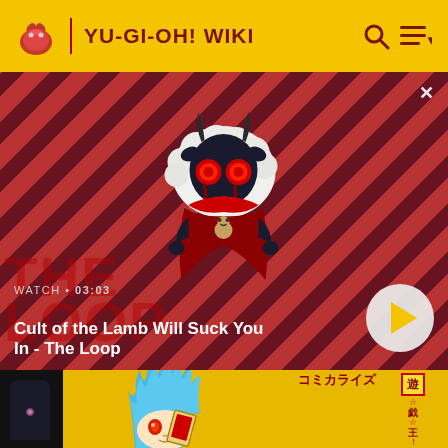YU-GI-OH! WIKI
[Figure (screenshot): Video banner with striped red/dark background featuring a cartoon Cult of the Lamb character (a dark lamb figure with red eyes and horns) centered above video info overlay]
WATCH • 03:03
Cult of the Lamb Will Suck You In - The Loop
[Figure (photo): Bottom manga/anime image showing a character with blue spiky hair and red eyes holding a card, with Japanese text visible on the right side, on a yellow background]